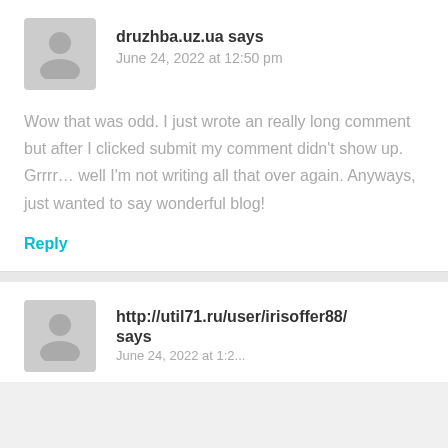[Figure (illustration): Gray avatar placeholder with a person silhouette icon]
druzhba.uz.ua says
June 24, 2022 at 12:50 pm
Wow that was odd. I just wrote an really long comment but after I clicked submit my comment didn't show up. Grrrr... well I'm not writing all that over again. Anyways, just wanted to say wonderful blog!
Reply
[Figure (illustration): Gray avatar placeholder with a person silhouette icon]
http://util71.ru/user/irisoffer88/ says